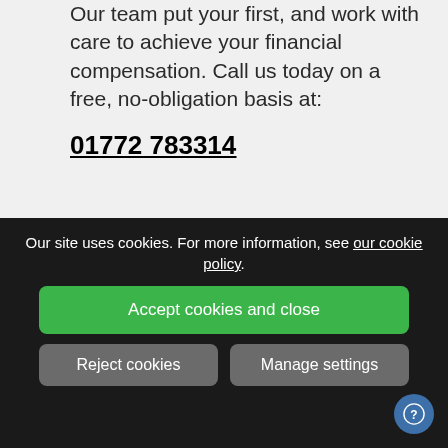Our team put your first, and work with care to achieve your financial compensation. Call us today on a free, no-obligation basis at:
01772 783314
[Figure (infographic): Green rounded rectangle card with speech bubble icon and text: 'Get in touch today to speak to a No Win No Fee Solicitor' and a 'Contact Us Here' button]
Our site uses cookies. For more information, see our cookie policy.
Accept cookies and close
Reject cookies
Manage settings